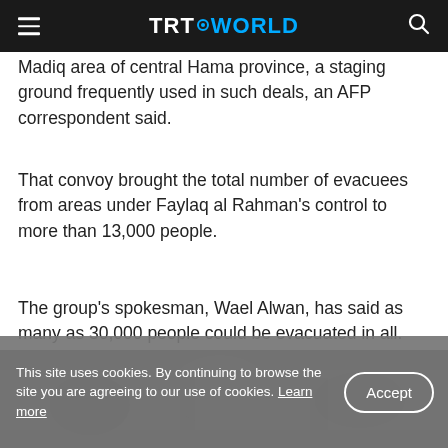TRT WORLD
Madiq area of central Hama province, a staging ground frequently used in such deals, an AFP correspondent said.
That convoy brought the total number of evacuees from areas under Faylaq al Rahman's control to more than 13,000 people.
The group's spokesman, Wael Alwan, has said as many as 30,000 people could be evacuated in all.
[Figure (photo): Photo of people in a crowd scene, partially visible at bottom of page]
This site uses cookies. By continuing to browse the site you are agreeing to our use of cookies. Learn more